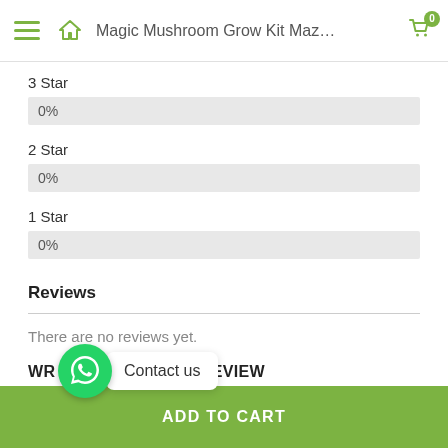Magic Mushroom Grow Kit Maz…
3 Star
0%
2 Star
0%
1 Star
0%
Reviews
There are no reviews yet.
WRITE A CUSTOMER REVIEW
Contact us
ADD TO CART